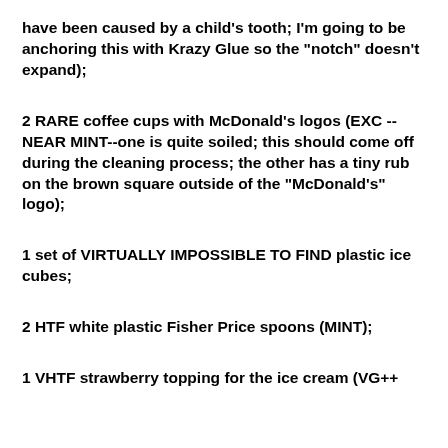have been caused by a child's tooth; I'm going to be anchoring this with Krazy Glue so the "notch" doesn't expand);
2 RARE coffee cups with McDonald's logos (EXC --NEAR MINT--one is quite soiled; this should come off during the cleaning process; the other has a tiny rub on the brown square outside of the "McDonald's" logo);
1 set of VIRTUALLY IMPOSSIBLE TO FIND plastic ice cubes;
2 HTF white plastic Fisher Price spoons (MINT);
1 VHTF strawberry topping for the ice cream (VG++